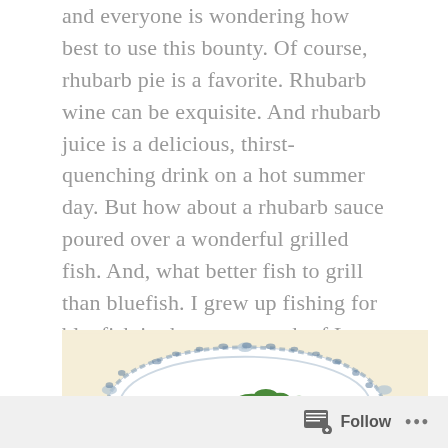and everyone is wondering how best to use this bounty. Of course, rhubarb pie is a favorite. Rhubarb wine can be exquisite. And rhubarb juice is a delicious, thirst-quenching drink on a hot summer day. But how about a rhubarb sauce poured over a wonderful grilled fish. And, what better fish to grill than bluefish. I grew up fishing for bluefish in the ocean south of Long Island on my uncle's boat. There is not a better game fish for fight and flavor than a bluefish. To this day, it is my favorite of all fish to eat. And grilling it over charcoal is the best way to cook it.
[Figure (photo): A decorative blue and white plate on a beige/cream background, with green vegetable pieces visible on the plate.]
Follow ...